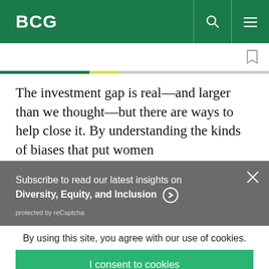BCG
The investment gap is real—and larger than we thought—but there are ways to help close it. By understanding the kinds of biases that put women
Subscribe to read our latest insights on Diversity, Equity, and Inclusion
protected by reCaptcha
By using this site, you agree with our use of cookies.
I consent to cookies
Want to know more?
Read our Cookie Policy